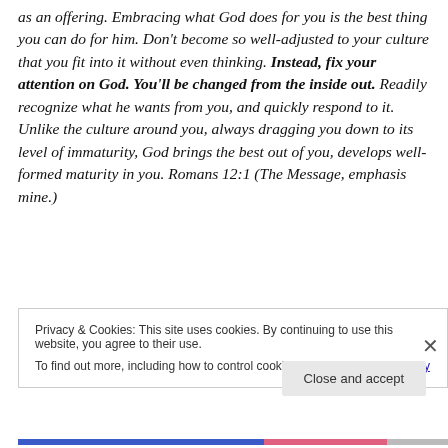as an offering. Embracing what God does for you is the best thing you can do for him. Don't become so well-adjusted to your culture that you fit into it without even thinking. Instead, fix your attention on God. You'll be changed from the inside out. Readily recognize what he wants from you, and quickly respond to it. Unlike the culture around you, always dragging you down to its level of immaturity, God brings the best out of you, develops well-formed maturity in you. Romans 12:1 (The Message, emphasis mine.)
Privacy & Cookies: This site uses cookies. By continuing to use this website, you agree to their use.
To find out more, including how to control cookies, see here: Cookie Policy
Close and accept